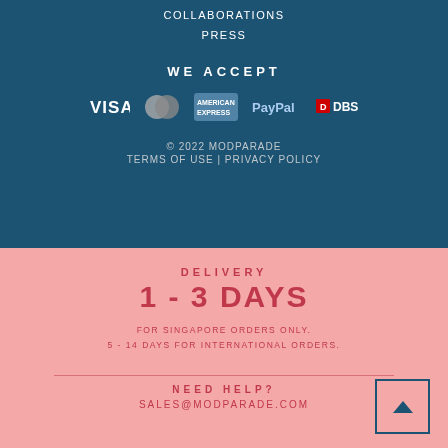COLLABORATIONS
PRESS
WE ACCEPT
[Figure (logo): Payment method icons: VISA, Mastercard, American Express, PayPal, DBS]
© 2022 MODPARADE
TERMS OF USE | PRIVACY POLICY
DELIVERY
1 - 3 DAYS
FOR SINGAPORE ORDERS ONLY.
5 - 14 DAYS FOR INTERNATIONAL ORDERS.
NEED HELP?
SALES@MODPARADE.COM